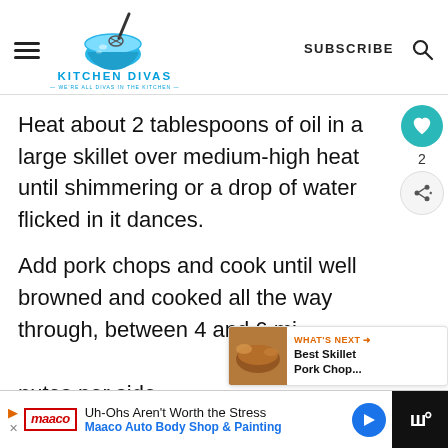KITCHEN DIVAS — WE'RE ALL DIVAS IN THE KITCHEN —
Heat about 2 tablespoons of oil in a large skillet over medium-high heat until shimmering or a drop of water flicked in it dances.
Add pork chops and cook until well browned and cooked all the way through, between 4 and 6 minutes per side.
[Figure (infographic): What's Next panel: Best Skillet Pork Chop... with food thumbnail image]
[Figure (infographic): Advertisement banner: Maaco Auto Body Shop & Painting - Uh-Ohs Aren't Worth the Stress]